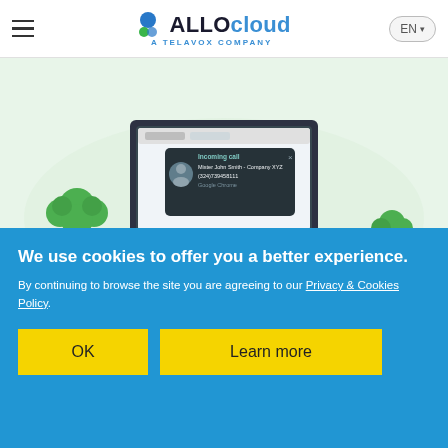ALLOcloud a TELAVOX company | EN
[Figure (illustration): Illustration of a desktop computer monitor showing an incoming call notification popup with caller info: 'Incoming call / Mister John Smith - Company XYZ / (324)739458111 / Google Chrome'. Decorative plants on either side of the monitor on a light green background.]
3) Call notifications
Is your phone ringing? Even before you pick up the phone, a
We use cookies to offer you a better experience. By continuing to browse the site you are agreeing to our Privacy & Cookies Policy.
OK
Learn more